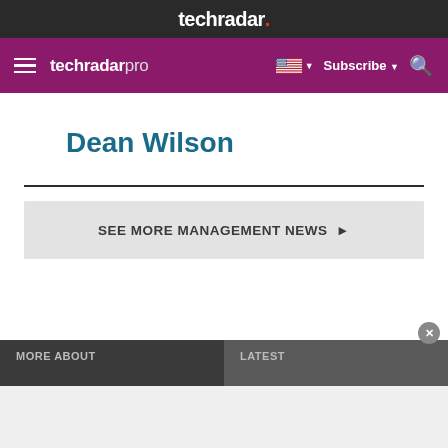techradar.
techradar pro  Subscribe
Dean Wilson
SEE MORE MANAGEMENT NEWS ▶
MORE ABOUT  LATEST